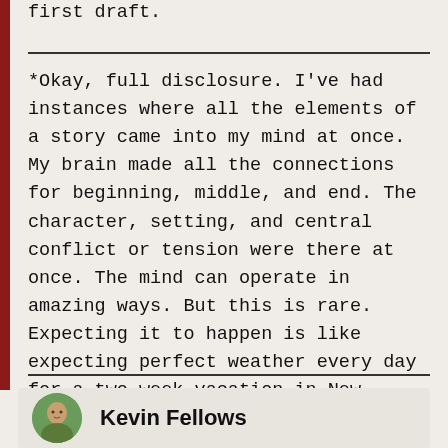first draft.
*Okay, full disclosure. I've had instances where all the elements of a story came into my mind at once. My brain made all the connections for beginning, middle, and end. The character, setting, and central conflict or tension were there at once. The mind can operate in amazing ways. But this is rare. Expecting it to happen is like expecting perfect weather every day for a two-week vacation in New England. It could happen, but it's highly unlikely.
Kevin Fellows